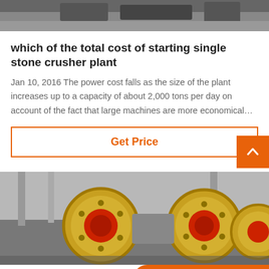[Figure (photo): Top portion of industrial machinery, dark grey background]
which of the total cost of starting single stone crusher plant
Jan 10, 2016 The power cost falls as the size of the plant increases up to a capacity of about 2,000 tons per day on account of the fact that large machines are more economical…
Get Price
[Figure (photo): Industrial stone crusher machinery with large yellow and red flywheel components inside a factory building]
Leave Message
Chat Online